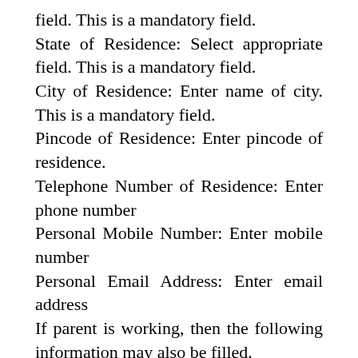field. This is a mandatory field.
State of Residence: Select appropriate field. This is a mandatory field.
City of Residence: Enter name of city. This is a mandatory field.
Pincode of Residence: Enter pincode of residence.
Telephone Number of Residence: Enter phone number
Personal Mobile Number: Enter mobile number
Personal Email Address: Enter email address
If parent is working, then the following information may also be filled.